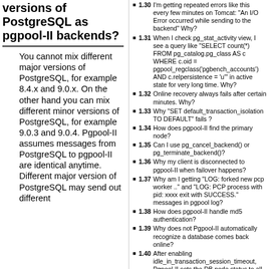versions of PostgreSQL as pgpool-II backends?
You cannot mix different major versions of PostgreSQL, for example 8.4.x and 9.0.x. On the other hand you can mix different minor versions of PostgreSQL, for example 9.0.3 and 9.0.4. Pgpool-II assumes messages from PostgreSQL to pgpool-II are identical anytime. Different major version of PostgreSQL may send out different
1.30 I'm getting repeated errors like this every few minutes on Tomcat: "An I/O Error occurred while sending to the backend" Why?
1.31 When I check pg_stat_activity view, I see a query like "SELECT count(*) FROM pg_catalog.pg_class AS c WHERE c.oid = pgpool_regclass('pgbench_accounts') AND c.relpersistence = 'u'" in active state for very long time. Why?
1.32 Online recovery always fails after certain minutes. Why?
1.33 Why "SET default_transaction_isolation TO DEFAULT" fails ?
1.34 How does pgpool-II find the primary node?
1.35 Can I use pg_cancel_backend() or pg_terminate_backend()?
1.36 Why my client is disconnected to pgpool-II when failover happens?
1.37 Why am I getting "LOG: forked new pcp worker .." and "LOG: PCP process with pid: xxxx exit with SUCCESS." messages in pgpool log?
1.38 How does pgpool-II handle md5 authentication?
1.39 Why does not Pgpool-II automatically recognize a database comes back online?
1.40 After enabling idle_in_transaction_session_timeout, Pgpool-II sets the DB node status to all down
1.41 How can I know PostgreSQL backend status connected by Pgpool-II?
2 pgpoolAdmin Frequently Asked Questions
2.1 pgpoolAdmin does not show any node in pgpool status and node status. Why?
2.2 Why does node status in pgpoolAdmin show "down" status even if